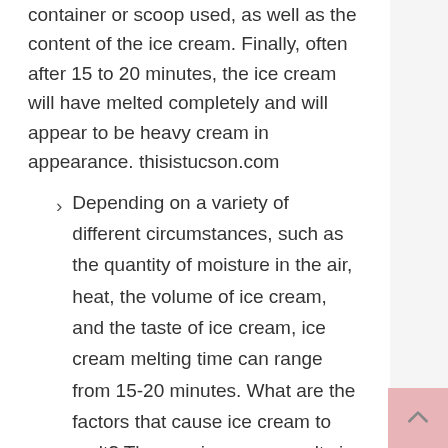container or scoop used, as well as the content of the ice cream. Finally, often after 15 to 20 minutes, the ice cream will have melted completely and will appear to be heavy cream in appearance. thisistucson.com
Depending on a variety of different circumstances, such as the quantity of moisture in the air, heat, the volume of ice cream, and the taste of ice cream, ice cream melting time can range from 15-20 minutes. What are the factors that cause ice cream to melt? The way ice cream melts is greatly influenced by the fat level of the ice cream as well as the